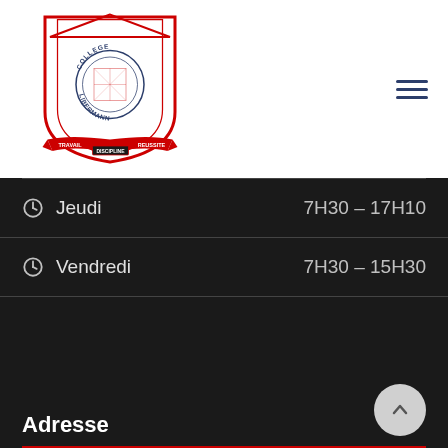[Figure (logo): Collège Libermann school crest/shield logo in red and navy with text TRAVAIL, DISCIPLINE, REUSSITE]
Jeudi  7H30 - 17H10
Vendredi  7H30 - 15H30
Adresse